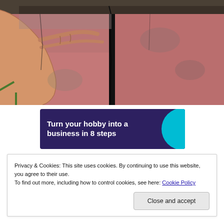[Figure (photo): A hand touching a cracked and deteriorating brick or stone wall with red/pink discoloration and dark cracks running through it.]
[Figure (infographic): Advertisement banner with dark purple/navy background and cyan circle accent reading 'Turn your hobby into a business in 8 steps']
Privacy & Cookies: This site uses cookies. By continuing to use this website, you agree to their use.
To find out more, including how to control cookies, see here: Cookie Policy
Close and accept